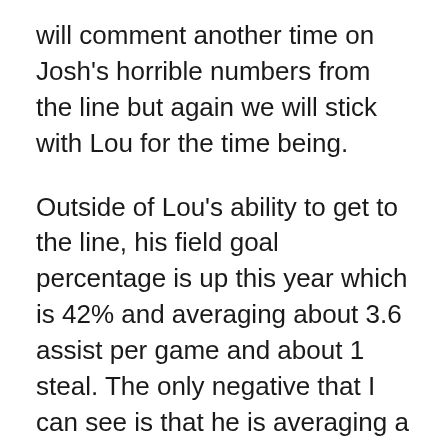will comment another time on Josh's horrible numbers from the line but again we will stick with Lou for the time being.
Outside of Lou's ability to get to the line, his field goal percentage is up this year which is 42% and averaging about 3.6 assist per game and about 1 steal. The only negative that I can see is that he is averaging a career high of about 2 turnovers a game but at the same time I can see this because he is playing the role as the distributor.
I think that this loss will hurt the team but it won't end our season. After watching these last couple of weeks, I think his loss will hurt but it doesn't mean that our season is collapsing. As long as we still have Teague, Horford, and Josh playing well and can get our role